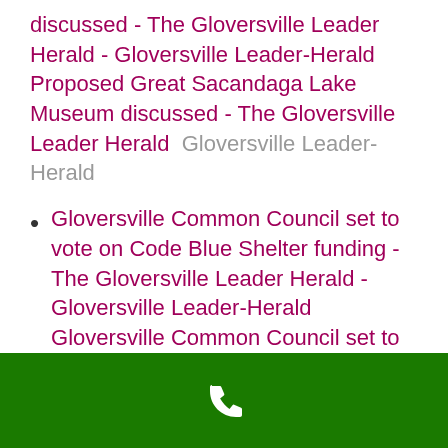discussed - The Gloversville Leader Herald - Gloversville Leader-Herald Proposed Great Sacandaga Lake Museum discussed - The Gloversville Leader Herald  Gloversville Leader-Herald
Gloversville Common Council set to vote on Code Blue Shelter funding - The Gloversville Leader Herald - Gloversville Leader-Herald Gloversville Common Council set to vote on Code Blue Shelter funding - The Gloversville Leader Herald  Gloversville Leader-Herald
Fire and racial slurs indicative of abandoned
[Figure (other): Green footer bar with white phone/call icon]